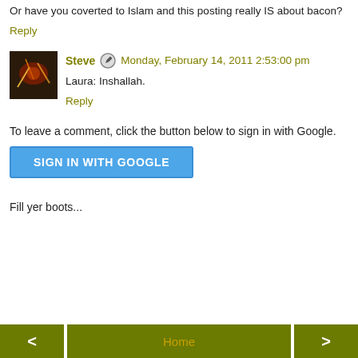Or have you coverted to Islam and this posting really IS about bacon?
Reply
Steve  Monday, February 14, 2011 2:53:00 pm
Laura: Inshallah.
Reply
To leave a comment, click the button below to sign in with Google.
SIGN IN WITH GOOGLE
Fill yer boots...